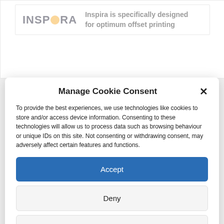[Figure (logo): Inspira logo with orange circle dot and tagline 'Inspira is specifically designed for optimum offset printing']
Manage Cookie Consent
To provide the best experiences, we use technologies like cookies to store and/or access device information. Consenting to these technologies will allow us to process data such as browsing behaviour or unique IDs on this site. Not consenting or withdrawing consent, may adversely affect certain features and functions.
Accept
Deny
View preferences
Cookie Policy   Website Privacy Policy